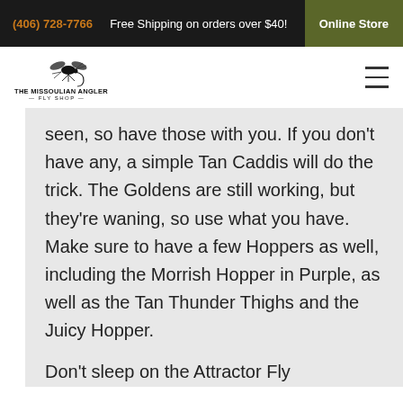(406) 728-7766    Free Shipping on orders over $40!    Online Store
[Figure (logo): The Missoulian Angler Fly Shop logo with fly fishing fly illustration above the text]
seen, so have those with you. If you don't have any, a simple Tan Caddis will do the trick. The Goldens are still working, but they're waning, so use what you have. Make sure to have a few Hoppers as well, including the Morrish Hopper in Purple, as well as the Tan Thunder Thighs and the Juicy Hopper.
Don't sleep on the Attractor Fly